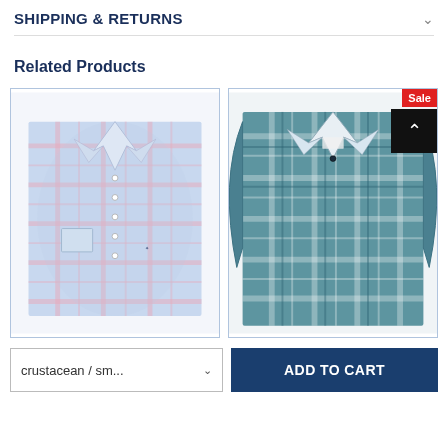SHIPPING & RETURNS
Related Products
[Figure (photo): Folded men's plaid button-down shirt in blue and pink check pattern]
[Figure (photo): Men's long-sleeve plaid flannel shirt in teal/blue pattern with Sale badge and back-to-top button overlay]
crustacean / sm... ∨
ADD TO CART